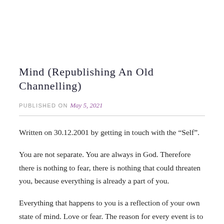Mind (republishing an old channelling)
PUBLISHED ON May 5, 2021
Written on 30.12.2001 by getting in touch with the “Self”.
You are not separate. You are always in God. Therefore there is nothing to fear, there is nothing that could threaten you, because everything is already a part of you.
Everything that happens to you is a reflection of your own state of mind. Love or fear. The reason for every event is to make you